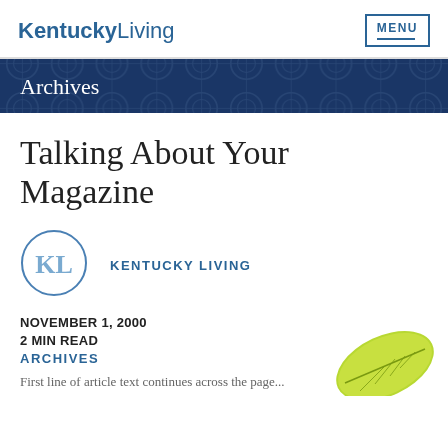KentuckyLiving   MENU
Archives
Talking About Your Magazine
[Figure (logo): KL circular logo for Kentucky Living]
KENTUCKY LIVING
NOVEMBER 1, 2000
2 MIN READ
ARCHIVES
First line of article text (partially visible)